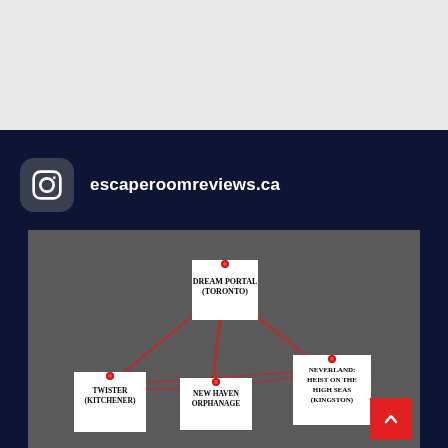[Figure (other): Gray top banner area of a webpage screenshot]
escaperoomreviews.ca
[Figure (photo): Photo of a corkboard with paper cards connected by red string, showing escape room locations: Dream Portal (Toronto), Twister (Kitchener), New Haven Orphanage, Neverland: Heist on the High Seas (Kingston)]